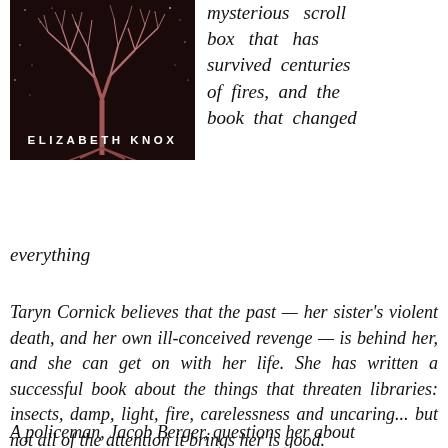[Figure (illustration): Book cover for a novel by Elizabeth Knox, featuring a dark background with a pink/rose-colored tree with spreading branches against a starry night sky, and the author name 'ELIZABETH KNOX' in white spaced capital letters at the bottom.]
mysterious scroll box that has survived centuries of fires, and the book that changed everything
Taryn Cornick believes that the past — her sister's violent death, and her own ill-conceived revenge — is behind her, and she can get on with her life. She has written a successful book about the things that threaten libraries: insects, damp, light, fire, carelessness and uncaring... but not all of the attention it brings her is good.
A policeman, Jacob Berger, questions her about